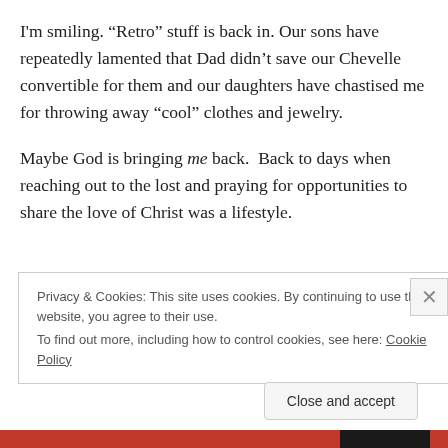I'm smiling. “Retro” stuff is back in. Our sons have repeatedly lamented that Dad didn’t save our Chevelle convertible for them and our daughters have chastised me for throwing away “cool” clothes and jewelry.
Maybe God is bringing me back. Back to days when reaching out to the lost and praying for opportunities to share the love of Christ was a lifestyle.
Privacy & Cookies: This site uses cookies. By continuing to use this website, you agree to their use.
To find out more, including how to control cookies, see here: Cookie Policy
Close and accept